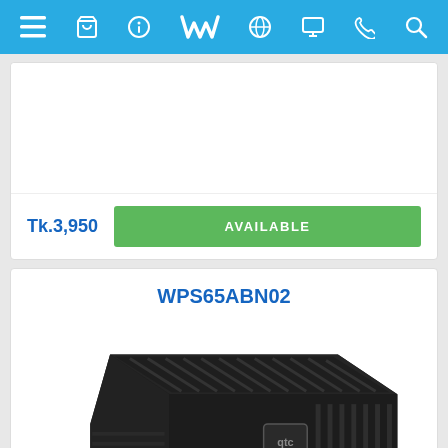Navigation bar with menu, cart, info, logo, globe, screen, phone, search icons
Tk.3,950
AVAILABLE
WPS65ABN02
[Figure (photo): Black power supply unit (PSU) with orange accent stripe and ventilation grille on top, viewed from an angle. Brand logo visible on front face.]